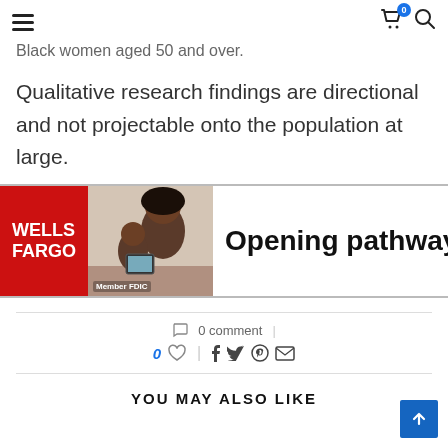≡  [cart 0]  [search]
Black women aged 50 and over.
Qualitative research findings are directional and not projectable onto the population at large.
[Figure (photo): Wells Fargo advertisement banner showing the Wells Fargo logo on red background, a photo of a mother and child looking at a tablet, Member FDIC label, and the text 'Opening pathway']
0 comment
0 ♡  |  f  t  ⊕  ✉
YOU MAY ALSO LIKE